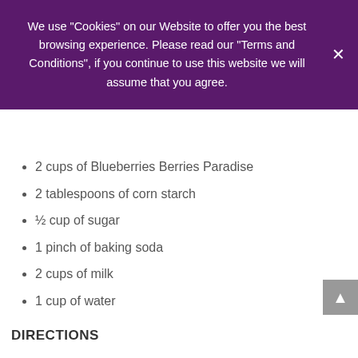We use "Cookies" on our Website to offer you the best browsing experience. Please read our "Terms and Conditions", if you continue to use this website we will assume that you agree.
2 cups of Blueberries Berries Paradise
2 tablespoons of corn starch
½ cup of sugar
1 pinch of baking soda
2 cups of milk
1 cup of water
DIRECTIONS
Place the blueberries and sugar in a saucepan and heat until the mixture starts to become a thick sauce. Put aside and let cool before blending.
In another saucepan, add the milk and baking soda